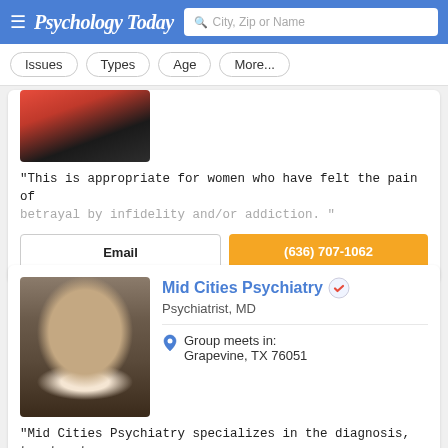Psychology Today — City, Zip or Name search bar
Issues
Types
Age
More...
[Figure (photo): Partial photo of a person wearing a red jacket and dark patterned top]
"This is appropriate for women who have felt the pain of betrayal by infidelity and/or addiction."
Email
(636) 707-1062
[Figure (photo): Professional headshot of a woman with dark hair wearing a dark blazer]
Mid Cities Psychiatry
Psychiatrist, MD
Group meets in:
Grapevine, TX 76051
"Mid Cities Psychiatry specializes in the diagnosis, treatment